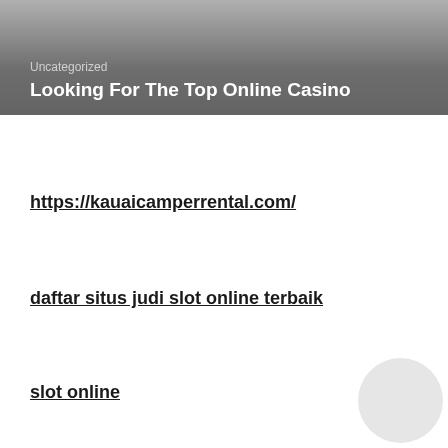[Figure (other): Hero image with gradient dark gray background]
Uncategorized
Looking For The Top Online Casino
https://kauaicamperrental.com/
daftar situs judi slot online terbaik
slot online